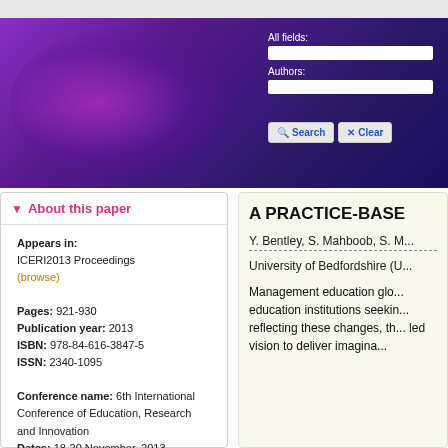[Figure (screenshot): Purple gradient banner header with search fields for All fields and Authors, plus Search and Clear buttons]
About this paper
Appears in:
ICERI2013 Proceedings
(browse)

Pages: 921-930
Publication year: 2013
ISBN: 978-84-616-3847-5
ISSN: 2340-1095

Conference name: 6th International Conference of Education, Research and Innovation
Dates: 18-20 November, 2013
Location: Seville, Spain
A PRACTICE-BASE...
Y. Bentley, S. Mahboob, S. ...
University of Bedfordshire (U...
Management education glo... education institutions seekin... reflecting these changes, th... led vision to deliver imagina...